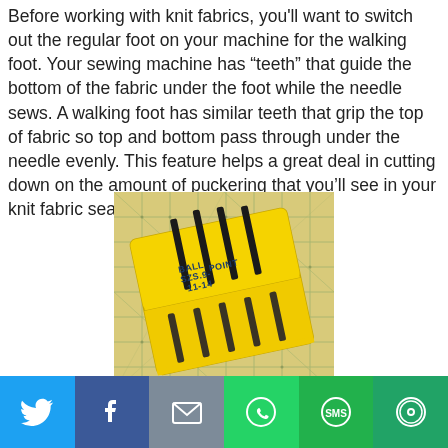Before working with knit fabrics, you'll want to switch out the regular foot on your machine for the walking foot. Your sewing machine has “teeth” that guide the bottom of the fabric under the foot while the needle sews. A walking foot has similar teeth that grip the top of fabric so top and bottom pass through under the needle evenly. This feature helps a great deal in cutting down on the amount of puckering that you’ll see in your knit fabric seams.
[Figure (photo): A yellow plastic ball point needle case containing several sewing needles, labeled BALL POINT SZS.9-11-14, resting on a gridded cutting mat background.]
Twitter | Facebook | Email | WhatsApp | SMS | More